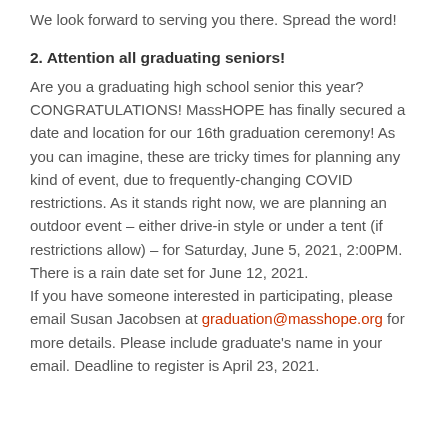We look forward to serving you there. Spread the word!
2. Attention all graduating seniors!
Are you a graduating high school senior this year? CONGRATULATIONS! MassHOPE has finally secured a date and location for our 16th graduation ceremony! As you can imagine, these are tricky times for planning any kind of event, due to frequently-changing COVID restrictions. As it stands right now, we are planning an outdoor event – either drive-in style or under a tent (if restrictions allow) – for Saturday, June 5, 2021, 2:00PM. There is a rain date set for June 12, 2021.
If you have someone interested in participating, please email Susan Jacobsen at graduation@masshope.org for more details. Please include graduate's name in your email. Deadline to register is April 23, 2021.